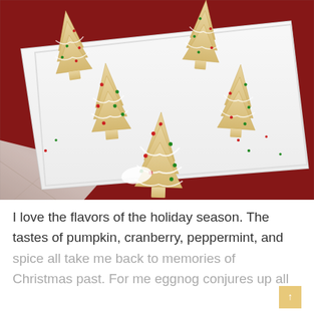[Figure (photo): Christmas tree-shaped sugar cookies with white icing drizzle and red and green sprinkles, arranged on a white rectangular tray placed on a dark red velvet surface.]
I love the flavors of the holiday season. The tastes of pumpkin, cranberry, peppermint, and spice all take me back to memories of Christmas past. For me eggnog conjures up all